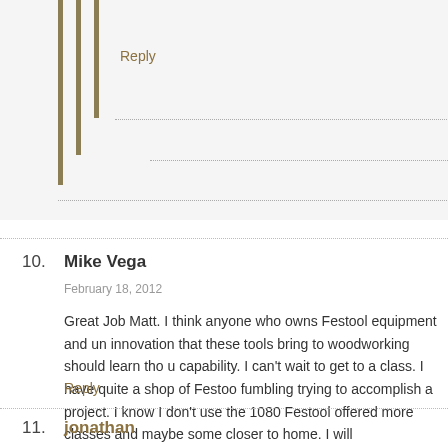Reply
10. Mike Vega
February 18, 2012
Great Job Matt. I think anyone who owns Festool equipment and un innovation that these tools bring to woodworking should learn tho u capability. I can't wait to get to a class. I have quite a shop of Festoo fumbling trying to accomplish a project. I know I don't use the 1080 Festool offered more classes and maybe some closer to home. I will
Reply
11. jonathan
February 20, 2012
Really cool stuff!! I just wish their tools didnt cost so much.
Reply